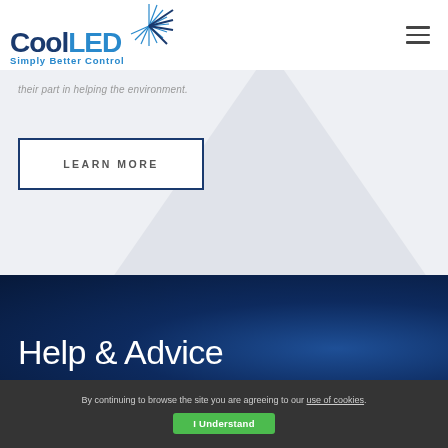[Figure (logo): CoolLED logo with burst/star graphic and tagline 'Simply Better Control']
their part in helping the environment.
LEARN MORE
Help & Advice
By continuing to browse the site you are agreeing to our use of cookies.
I Understand